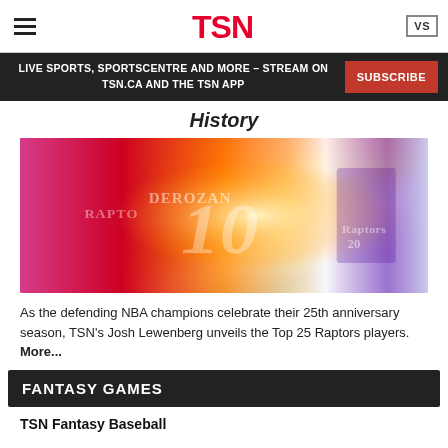TSN
LIVE SPORTS, SPORTSCENTRE AND MORE – STREAM ON TSN.CA AND THE TSN APP
SUBSCRIBE
History
[Figure (photo): Collage of Toronto Raptors players including DeMar DeRozan wearing number 10, with vibrant pink, red and purple background celebrating the team's 25th anniversary.]
As the defending NBA champions celebrate their 25th anniversary season, TSN's Josh Lewenberg unveils the Top 25 Raptors players. More...
FANTASY GAMES
TSN Fantasy Baseball